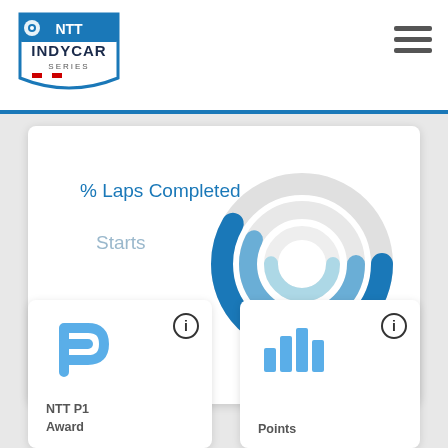[Figure (logo): NTT IndyCar Series logo badge in top left header]
[Figure (other): Hamburger menu icon (three horizontal lines) in top right header]
[Figure (donut-chart): Concentric donut/ring chart showing % Laps Completed (dark blue outer ring) and Starts (medium and light blue inner rings)]
[Figure (logo): NTT P1 Award - blue stylized P logo icon]
[Figure (other): Info (i) circle button icon on NTT P1 Award card]
[Figure (bar-chart): Blue bar chart icon representing Points]
[Figure (other): Info (i) circle button icon on Points card]
NTT P1
Award
Points